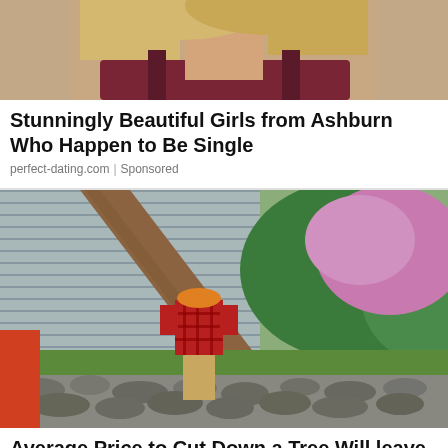[Figure (photo): Cropped photo of a blonde woman, partially visible from shoulders up]
Stunningly Beautiful Girls from Ashburn Who Happen to Be Single
perfect-dating.com | Sponsored
[Figure (photo): Person in red plaid shirt and orange hard hat standing in front of a large felled tree trunk in a residential yard with pink flowering bushes]
Average Price to Cut Down a Tree Will leave You Speechless (Search For Prices)